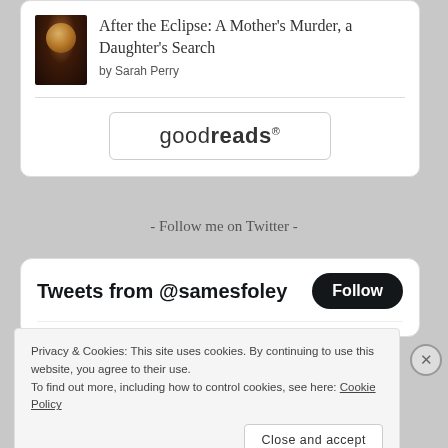[Figure (illustration): Book cover for 'After the Eclipse' showing a dark background with a glowing circular motif]
After the Eclipse: A Mother's Murder, a Daughter's Search
by Sarah Perry
[Figure (logo): Goodreads logo button with rounded border]
- Follow me on Twitter -
Tweets from @samesfoley
Follow
Privacy & Cookies: This site uses cookies. By continuing to use this website, you agree to their use.
To find out more, including how to control cookies, see here: Cookie Policy
Close and accept